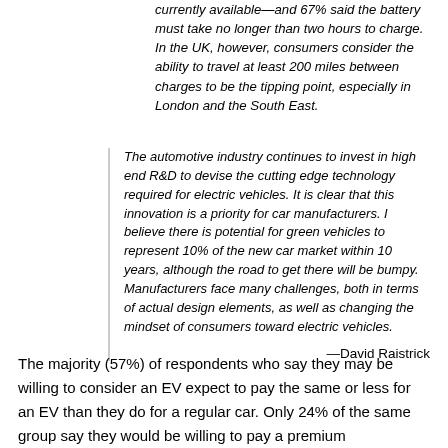currently available—and 67% said the battery must take no longer than two hours to charge. In the UK, however, consumers consider the ability to travel at least 200 miles between charges to be the tipping point, especially in London and the South East.
The automotive industry continues to invest in high end R&D to devise the cutting edge technology required for electric vehicles. It is clear that this innovation is a priority for car manufacturers. I believe there is potential for green vehicles to represent 10% of the new car market within 10 years, although the road to get there will be bumpy. Manufacturers face many challenges, both in terms of actual design elements, as well as changing the mindset of consumers toward electric vehicles.
—David Raistrick
The majority (57%) of respondents who say they may be willing to consider an EV expect to pay the same or less for an EV than they do for a regular car. Only 24% of the same group say they would be willing to pay a premium